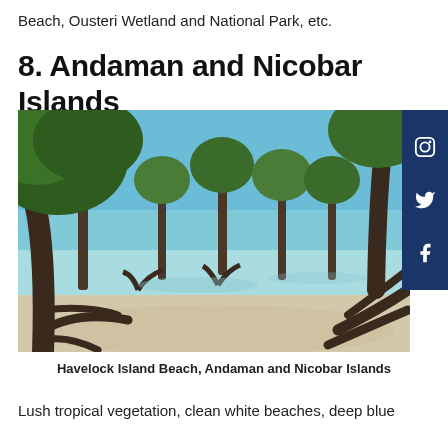Beach, Ousteri Wetland and National Park, etc.
8. Andaman and Nicobar Islands
[Figure (photo): Havelock Island Beach, Andaman and Nicobar Islands — mangrove trees with exposed roots standing in shallow turquoise water on a sandy beach under a blue sky]
Havelock Island Beach, Andaman and Nicobar Islands
Lush tropical vegetation, clean white beaches, deep blue